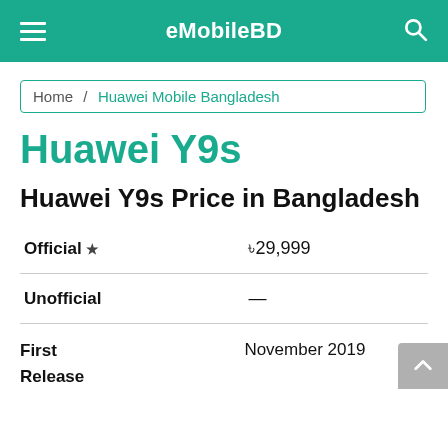eMobileBD
Home / Huawei Mobile Bangladesh
Huawei Y9s
Huawei Y9s Price in Bangladesh
|  |  |
| --- | --- |
| Official ★ | ৳29,999 |
| Unofficial | — |
First Release    November 2019